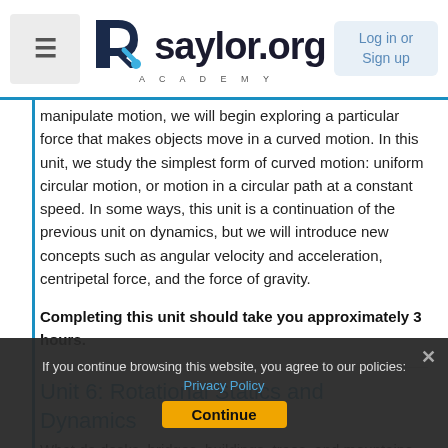saylor.org Academy — Log in or Sign up
manipulate motion, we will begin exploring a particular force that makes objects move in a curved motion. In this unit, we study the simplest form of curved motion: uniform circular motion, or motion in a circular path at a constant speed. In some ways, this unit is a continuation of the previous unit on dynamics, but we will introduce new concepts such as angular velocity and acceleration, centripetal force, and the force of gravity.
Completing this unit should take you approximately 3 hours.
Unit 6: Rotational Statics and Dynamics
What do desks, bridges, buildings, trees, and mountains have in common? at least in the eyes of a
If you continue browsing this website, you agree to our policies: Privacy Policy  Continue